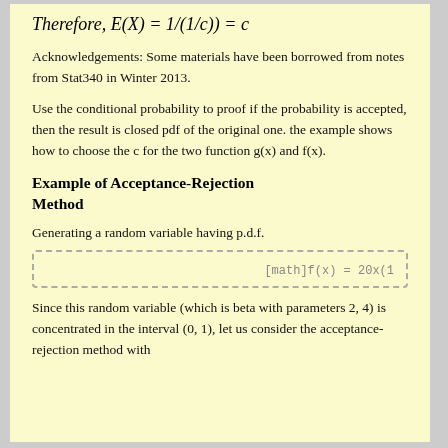Therefore, E(X) = 1/(1/c)) = c
Acknowledgements: Some materials have been borrowed from notes from Stat340 in Winter 2013.
Use the conditional probability to proof if the probability is accepted, then the result is closed pdf of the original one. the example shows how to choose the c for the two function g(x) and f(x).
Example of Acceptance-Rejection Method
Generating a random variable having p.d.f.
[math]f(x) = 20x(1
Since this random variable (which is beta with parameters 2, 4) is concentrated in the interval (0, 1), let us consider the acceptance-rejection method with